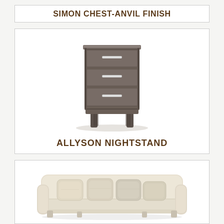SIMON CHEST-ANVIL FINISH
[Figure (photo): Allyson Nightstand - a three-drawer nightstand with dark grey/charcoal finish and silver bar handles, shown on short tapered legs]
ALLYSON NIGHTSTAND
[Figure (photo): A cream/beige upholstered sofa with multiple decorative pillows in cream and light grey tones, partially visible]